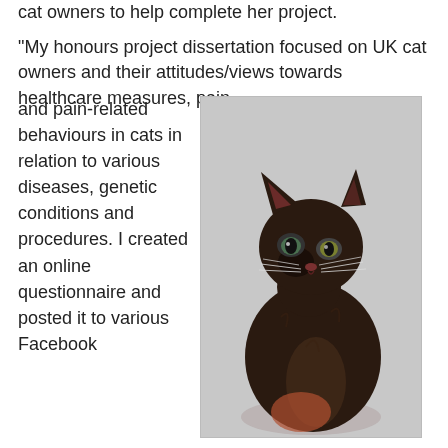cat owners to help complete her project.
“My honours project dissertation focused on UK cat owners and their attitudes/views towards healthcare measures, pain and pain-related behaviours in cats in relation to various diseases, genetic conditions and procedures. I created an online questionnaire and posted it to various Facebook
[Figure (photo): A dark tortoiseshell cat sitting upright, facing slightly to the left, photographed against a light grey background. The cat has dark brown and black fur with some lighter markings.]